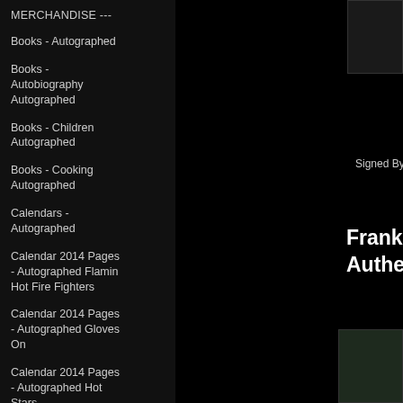MERCHANDISE ---
Books - Autographed
Books - Autobiography Autographed
Books - Children Autographed
Books - Cooking Autographed
Calendars - Autographed
Calendar 2014 Pages - Autographed Flamin Hot Fire Fighters
Calendar 2014 Pages - Autographed Gloves On
Calendar 2014 Pages - Autographed Hot Stars
[Figure (photo): Thumbnail image top right corner, dark background]
Signed By Both In-Pe
Frank Maloney & Authentic Autog
[Figure (photo): Thumbnail image bottom right corner, dark green background]